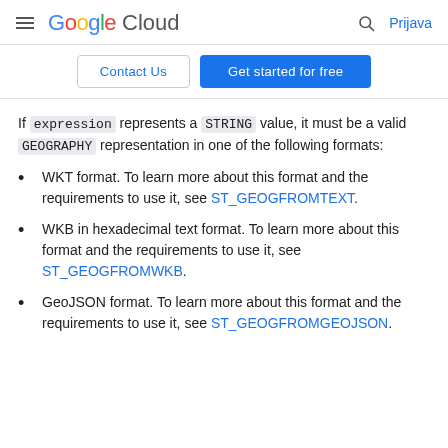Google Cloud — Prijava
Contact Us | Get started for free
If expression represents a STRING value, it must be a valid GEOGRAPHY representation in one of the following formats:
WKT format. To learn more about this format and the requirements to use it, see ST_GEOGFROMTEXT.
WKB in hexadecimal text format. To learn more about this format and the requirements to use it, see ST_GEOGFROMWKB.
GeoJSON format. To learn more about this format and the requirements to use it, see ST_GEOGFROMGEOJSON.